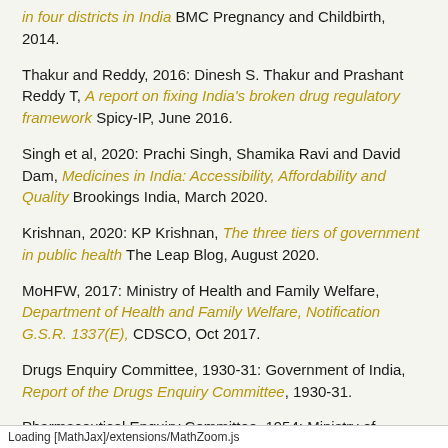in four districts in India BMC Pregnancy and Childbirth, 2014.
Thakur and Reddy, 2016: Dinesh S. Thakur and Prashant Reddy T, A report on fixing India's broken drug regulatory framework Spicy-IP, June 2016.
Singh et al, 2020: Prachi Singh, Shamika Ravi and David Dam, Medicines in India: Accessibility, Affordability and Quality Brookings India, March 2020.
Krishnan, 2020: KP Krishnan, The three tiers of government in public health The Leap Blog, August 2020.
MoHFW, 2017: Ministry of Health and Family Welfare, Department of Health and Family Welfare, Notification G.S.R. 1337(E), CDSCO, Oct 2017.
Drugs Enquiry Committee, 1930-31: Government of India, Report of the Drugs Enquiry Committee, 1930-31.
Pharmaceutical Enquiry Committee, 1954: Ministry of Commerce and Industry, Report of the pharmaceutical enquiry committee, 1954.
Loading [MathJax]/extensions/MathZoom.js